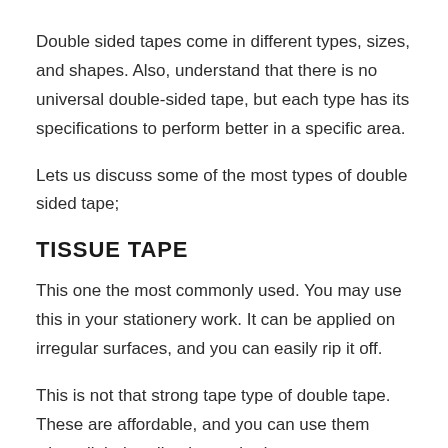Double sided tapes come in different types, sizes, and shapes. Also, understand that there is no universal double-sided tape, but each type has its specifications to perform better in a specific area.
Lets us discuss some of the most types of double sided tape;
TISSUE TAPE
This one the most commonly used. You may use this in your stationery work. It can be applied on irregular surfaces, and you can easily rip it off.
This is not that strong tape type of double tape. These are affordable, and you can use them where light bonding is required.